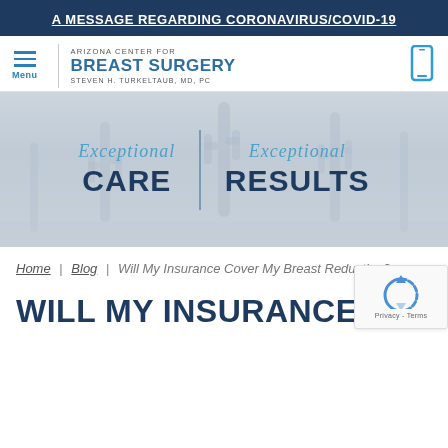A MESSAGE REGARDING CORONAVIRUS/COVID-19
[Figure (screenshot): Arizona Center for Breast Surgery logo with hamburger menu icon and phone icon]
[Figure (infographic): Hero banner with desert cactus silhouette background showing 'Exceptional CARE | Exceptional RESULTS']
Home | Blog | Will My Insurance Cover My Breast Reduction?
WILL MY INSURANCE